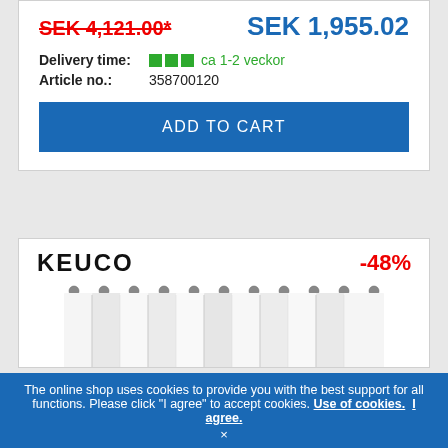SEK 4,121.00* (strikethrough, old price) | SEK 1,955.02 (new price)
Delivery time: ca 1-2 veckor
Article no.: 358700120
ADD TO CART
[Figure (logo): KEUCO brand logo in bold black text]
-48%
[Figure (photo): White shower curtain with metal rings, hanging in vertical folds]
The online shop uses cookies to provide you with the best support for all functions. Please click "I agree" to accept cookies. Use of cookies. I agree.
×